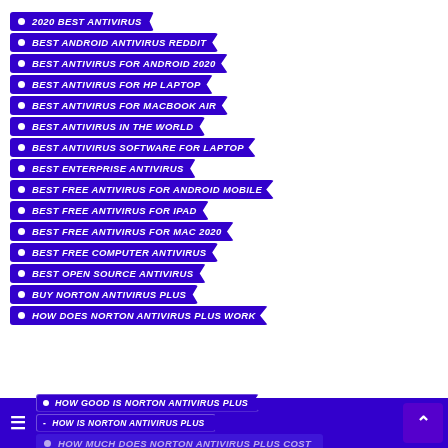2020 BEST ANTIVIRUS
BEST ANDROID ANTIVIRUS REDDIT
BEST ANTIVIRUS FOR ANDROID 2020
BEST ANTIVIRUS FOR HP LAPTOP
BEST ANTIVIRUS FOR MACBOOK AIR
BEST ANTIVIRUS IN THE WORLD
BEST ANTIVIRUS SOFTWARE FOR LAPTOP
BEST ENTERPRISE ANTIVIRUS
BEST FREE ANTIVIRUS FOR ANDROID MOBILE
BEST FREE ANTIVIRUS FOR IPAD
BEST FREE ANTIVIRUS FOR MAC 2020
BEST FREE COMPUTER ANTIVIRUS
BEST OPEN SOURCE ANTIVIRUS
BUY NORTON ANTIVIRUS PLUS
HOW DOES NORTON ANTIVIRUS PLUS WORK
HOW GOOD IS NORTON ANTIVIRUS PLUS
HOW IS NORTON ANTIVIRUS PLUS
HOW MUCH DOES NORTON ANTIVIRUS PLUS COST